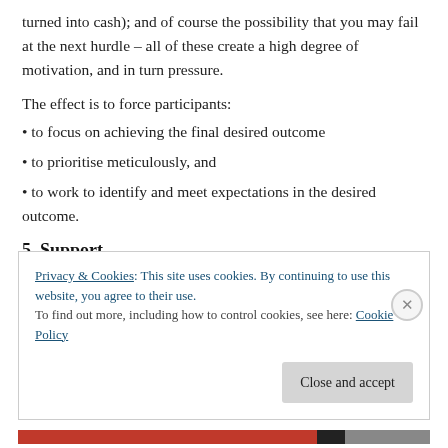turned into cash); and of course the possibility that you may fail at the next hurdle – all of these create a high degree of motivation, and in turn pressure.
The effect is to force participants:
• to focus on achieving the final desired outcome
• to prioritise meticulously, and
• to work to identify and meet expectations in the desired outcome.
5. Support
Privacy & Cookies: This site uses cookies. By continuing to use this website, you agree to their use.
To find out more, including how to control cookies, see here: Cookie Policy
Close and accept